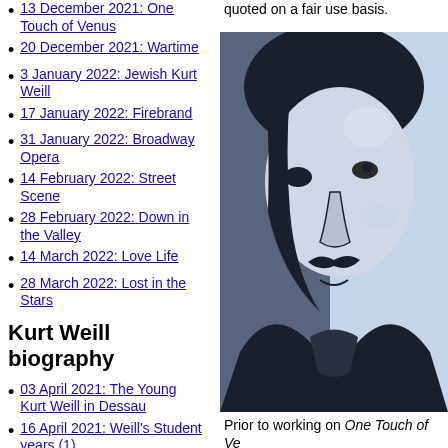quoted on a fair use basis.
13 December 2021: One Touch of Venus
20 December 2021: Wartime
3 January 2022: Jewish Kurt Weill
17 January 2022: Firebrand
31 January 2022: Broadway Opera
14 February 2022: Street Scene
28 February 2022: Down in the Valley
14 March 2022: Love Life
28 March 2022: Lost in the Stars
Kurt Weill biography
03 April 2021: The Young Kurt Weill in Dessau
16 April 2021: Weill's Student years (1)
5 May 2021: Weill's Student years (2)
[Figure (illustration): A painted portrait of a man (Kurt Weill) with dark features, mustache, wearing dark clothing. Signed JM 11/? SJPERF at bottom right.]
Prior to working on One Touch of Ve...